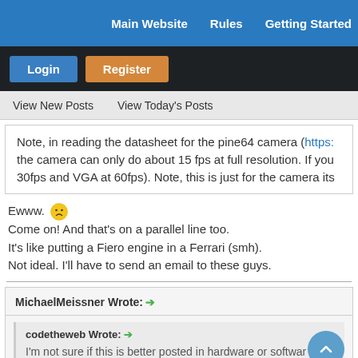Main Website   Rules   Getting Started
Login   Register
View New Posts   View Today's Posts
Note, in reading the datasheet for the pine64 camera (https:// the camera can only do about 15 fps at full resolution. If you 30fps and VGA at 60fps). Note, this is just for the camera its
Ewww. 😕
Come on! And that's on a parallel line too.
It's like putting a Fiero engine in a Ferrari (smh).
Not ideal. I'll have to send an email to these guys.
MichaelMeissner Wrote: →
codetheweb Wrote: →
I'm not sure if this is better posted in hardware or softwar